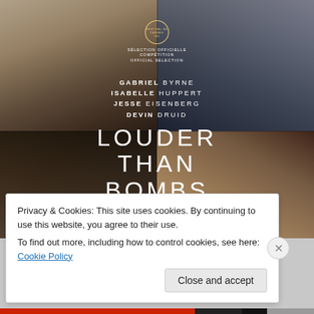[Figure (photo): Movie poster for 'Louder Than Bombs' featuring four actors arranged in quadrants: young man top-left, older man top-right, young man bottom-left, red-haired woman bottom-right. Cast listed as Gabriel Byrne, Isabelle Huppert, Jesse Eisenberg, Devin Druid. Cannes Film Festival competition badge visible.]
Privacy & Cookies: This site uses cookies. By continuing to use this website, you agree to their use.
To find out more, including how to control cookies, see here: Cookie Policy
Close and accept